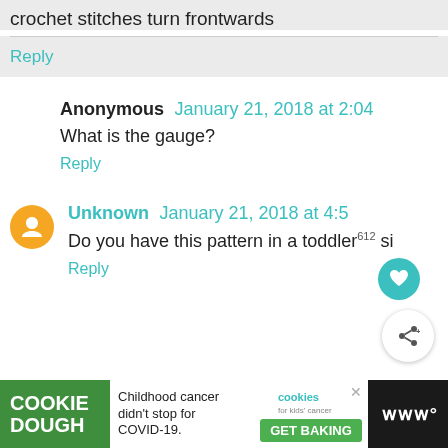crochet stitches turn frontwards
Reply
Anonymous January 21, 2018 at 2:04
What is the gauge?
Reply
Unknown January 21, 2018 at 4:5
Do you have this pattern in a toddler si
Reply
Childhood cancer didn't stop for COVID-19. GET BAKING